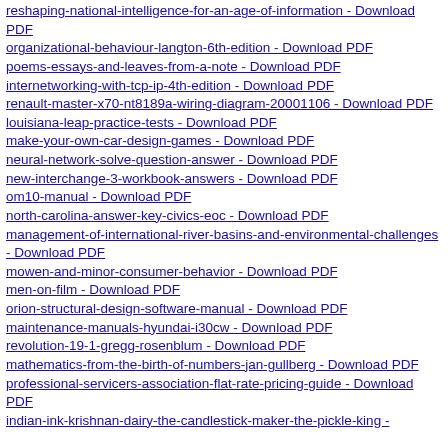reshaping-national-intelligence-for-an-age-of-information - Download PDF
organizational-behaviour-langton-6th-edition - Download PDF
poems-essays-and-leaves-from-a-note - Download PDF
internetworking-with-tcp-ip-4th-edition - Download PDF
renault-master-x70-nt8189a-wiring-diagram-20001106 - Download PDF
louisiana-leap-practice-tests - Download PDF
make-your-own-car-design-games - Download PDF
neural-network-solve-question-answer - Download PDF
new-interchange-3-workbook-answers - Download PDF
om10-manual - Download PDF
north-carolina-answer-key-civics-eoc - Download PDF
management-of-international-river-basins-and-environmental-challenges - Download PDF
mowen-and-minor-consumer-behavior - Download PDF
men-on-film - Download PDF
orion-structural-design-software-manual - Download PDF
maintenance-manuals-hyundai-i30cw - Download PDF
revolution-19-1-gregg-rosenblum - Download PDF
mathematics-from-the-birth-of-numbers-jan-gullberg - Download PDF
professional-servicers-association-flat-rate-pricing-guide - Download PDF
indian-ink-krishnan-dairy-the-candlestick-maker-the-pickle-king -